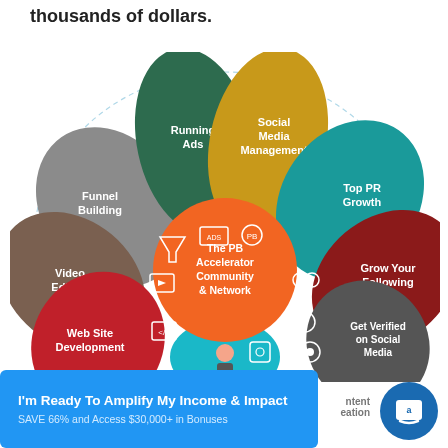thousands of dollars.
[Figure (infographic): Fan/peacock-shaped infographic showing 'The PB Accelerator Community & Network' at the center (orange circle), with surrounding petal-shaped segments for: Running Ads (dark green), Social Media Management (gold/yellow), Top PR Growth (teal), Grow Your Following (dark red), Get Verified on Social Media (dark gray), Web Site Development (red), Video Editing (brown/taupe), Funnel Building (gray). Icons for each service are shown. Surrounding a dashed circular border.]
I'm Ready To Amplify My Income & Impact
SAVE 66% and Access $30,000+ in Bonuses